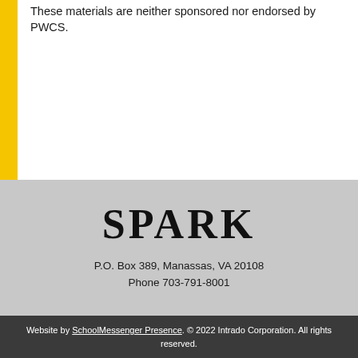These materials are neither sponsored nor endorsed by PWCS.
SPARK
P.O. Box 389, Manassas, VA 20108
Phone 703-791-8001
Website by SchoolMessenger Presence. © 2022 Intrado Corporation. All rights reserved.